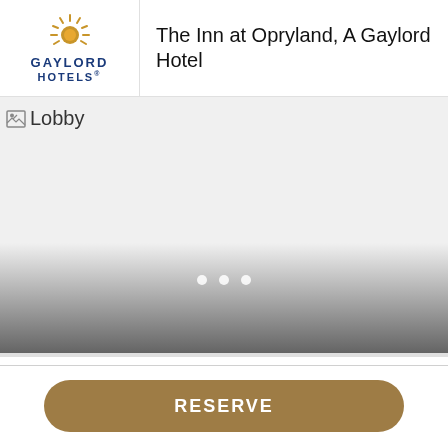[Figure (logo): Gaylord Hotels logo with stylized sun/star graphic and blue bold text reading GAYLORD HOTELS]
The Inn at Opryland, A Gaylord Hotel
[Figure (photo): Lobby photo placeholder image (broken image icon) labeled 'Lobby', with a gradient fade to gray at the bottom and three white dot indicators]
RESERVE